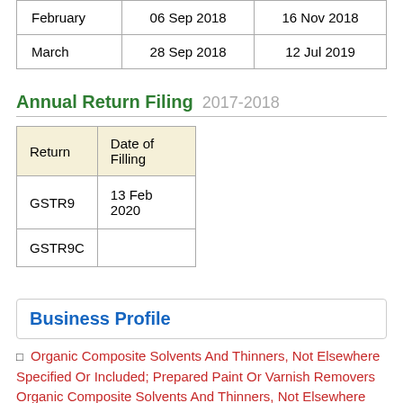|  |  |  |
| --- | --- | --- |
| February | 06 Sep 2018 | 16 Nov 2018 |
| March | 28 Sep 2018 | 12 Jul 2019 |
Annual Return Filing 2017-2018
| Return | Date of Filling |
| --- | --- |
| GSTR9 | 13 Feb 2020 |
| GSTR9C |  |
Business Profile
Organic Composite Solvents And Thinners, Not Elsewhere Specified Or Included; Prepared Paint Or Varnish Removers Organic Composite Solvents And Thinners, Not Elsewhere Specified Or Included; Prepared